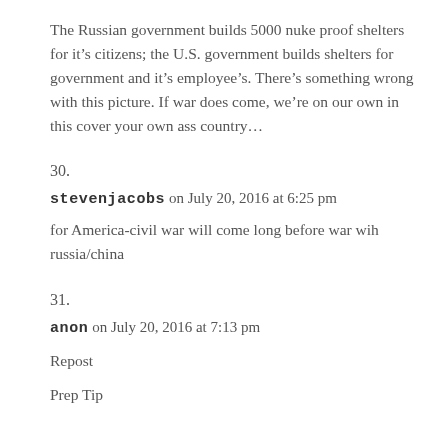The Russian government builds 5000 nuke proof shelters for it's citizens; the U.S. government builds shelters for government and it's employee's. There's something wrong with this picture. If war does come, we're on our own in this cover your own ass country…
30.
stevenjacobs on July 20, 2016 at 6:25 pm
for America-civil war will come long before war wih russia/china
31.
anon on July 20, 2016 at 7:13 pm
Repost
Prep Tip